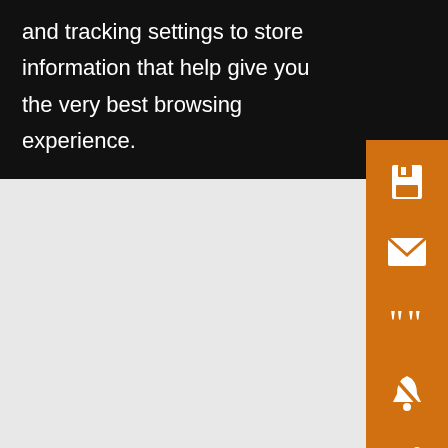and tracking settings to store information that help give you the very best browsing experience.
Fig. Cu
[Figure (histogram): Cumulative relative frequency histogram]
10+ not con her Ci